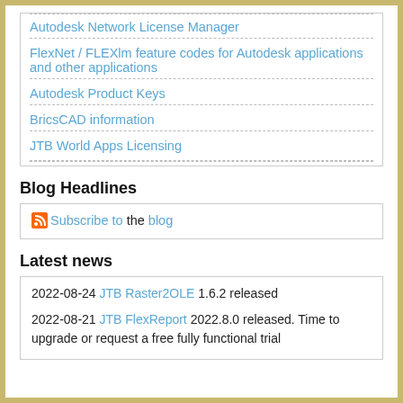Autodesk Network License Manager
FlexNet / FLEXlm feature codes for Autodesk applications and other applications
Autodesk Product Keys
BricsCAD information
JTB World Apps Licensing
Blog Headlines
Subscribe to the blog
Latest news
2022-08-24 JTB Raster2OLE 1.6.2 released
2022-08-21 JTB FlexReport 2022.8.0 released. Time to upgrade or request a free fully functional trial